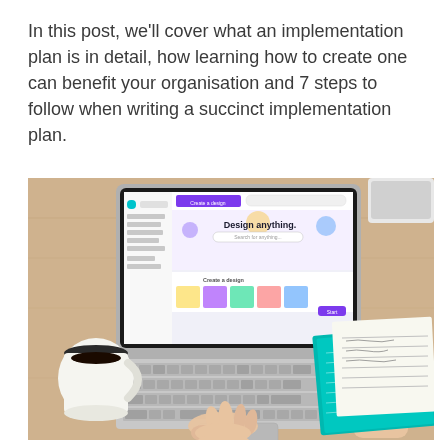In this post, we'll cover what an implementation plan is in detail, how learning how to create one can benefit your organisation and 7 steps to follow when writing a succinct implementation plan.
[Figure (photo): Overhead view of a person typing on a MacBook laptop showing the Canva 'Design anything.' homepage, with a white coffee mug with black coffee on the left, and a teal notebook with a pen and notepad on the right, all on a light wood desk surface.]